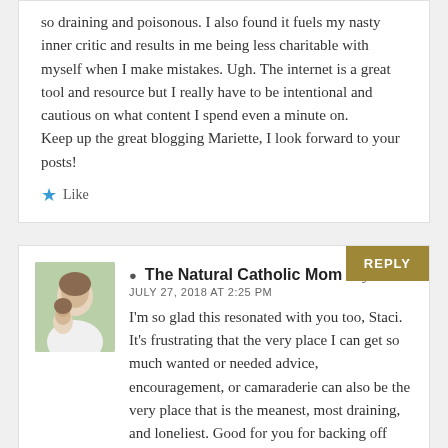so draining and poisonous. I also found it fuels my nasty inner critic and results in me being less charitable with myself when I make mistakes. Ugh. The internet is a great tool and resource but I really have to be intentional and cautious on what content I spend even a minute on.
Keep up the great blogging Mariette, I look forward to your posts!
Like
REPLY
The Natural Catholic Mom says:
JULY 27, 2018 AT 2:25 PM
I'm so glad this resonated with you too, Staci. It's frustrating that the very place I can get so much wanted or needed advice, encouragement, or camaraderie can also be the very place that is the meanest, most draining, and loneliest. Good for you for backing off Facebook when you